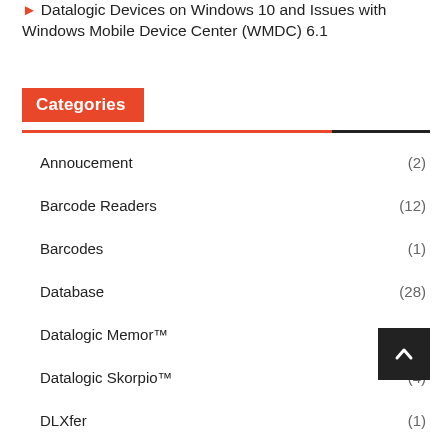Datalogic Devices on Windows 10 and Issues with Windows Mobile Device Center (WMDC) 6.1
Categories
Annoucement (2)
Barcode Readers (12)
Barcodes (1)
Database (28)
Datalogic Memor™ (10)
Datalogic Skorpio™ (4)
DLXfer (1)
Dymo® (1)
Enchancement Tracking System (ETS) (3)
For Your Information (6)